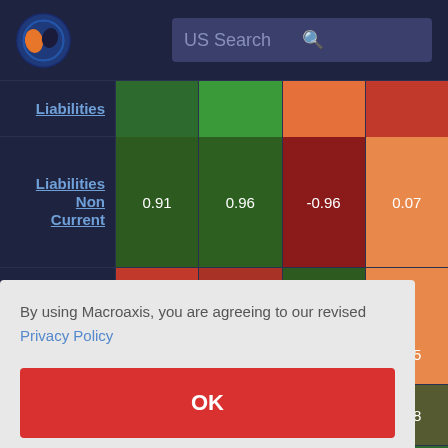[Figure (screenshot): Macroaxis website header with logo and US Search bar]
| Row | Col1 | Col2 | Col3 | Col4 |
| --- | --- | --- | --- | --- |
| Liabilities | ~0.x | ~0.x3 | ~0.x1 | ~0.x2 |
| Liabilities Non Current | 0.91 | 0.96 | -0.96 | 0.07 |
| Trade and | ~red | ~red | ~dark green | ~orange |
By using Macroaxis, you are agreeing to our revised Privacy Policy
OK